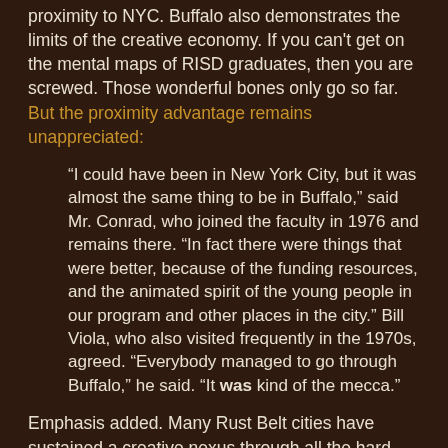proximity to NYC. Buffalo also demonstrates the limits of the creative economy. If you can't get on the mental maps of RISD graduates, then you are screwed. Those wonderful bones only go so far. But the proximity advantage remains unappreciated:
“I could have been in New York City, but it was almost the same thing to be in Buffalo,” said Mr. Conrad, who joined the faculty in 1976 and remains there. “In fact there were things that were better, because of the funding resources, and the animated spirit of the young people in our program and other places in the city.” Bill Viola, who also visited frequently in the 1970s, agreed. “Everybody managed to go through Buffalo,” he said. “It was kind of the mecca.”
Emphasis added. Many Rust Belt cities have sustained a creative nexus through all the hard times. The rest of the world is rediscovering its Parisian splendor, while Brooklyn